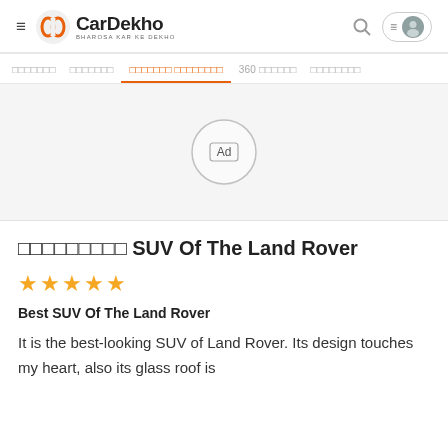CarDekho — BHAROSA KAR KE DEKHO
☰ ◉ CarDekho BHAROSA KAR KE DEKHO  🔍  ≡ 👤
□□□□□□□  □□□□□□□  □□□□□□□ □□□□□□□□  360 □□□□□□  □□□□□□□□
[Figure (other): Advertisement placeholder circle with 'Ad' label in center, light gray background]
□□□□□□□□□ SUV Of The Land Rover
★★★★★
Best SUV Of The Land Rover
It is the best-looking SUV of Land Rover. Its design touches my heart, also its glass roof is